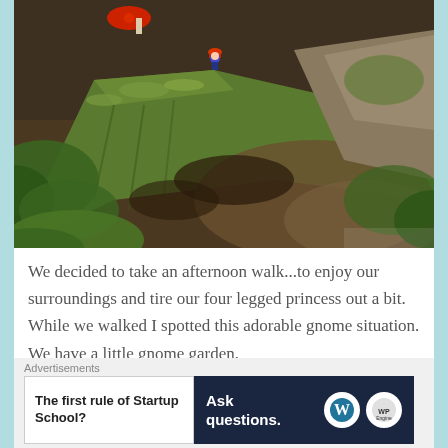[Figure (photo): A garden gnome figurine with a red hat standing on a mossy fallen log in a forest setting with ferns and green vegetation surrounding it.]
We decided to take an afternoon walk...to enjoy our surroundings and tire our four legged princess out a bit. While we walked I spotted this adorable gnome situation. We have a little gnome garden, but this was so cute and a great way to embellish...
Advertisements
[Figure (infographic): Advertisement banner with two sections: left white section reads 'The first rule of Startup School?' and right dark navy section reads 'Ask questions.' with WordPress and WP Engine logos.]